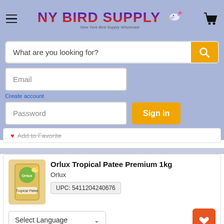[Figure (screenshot): NY Bird Supply website header with hamburger menu, logo, and cart icon on a periwinkle/lavender background]
What are you looking for?
Email
Create account
Password
Sign in
Forgot your password?
Add to Favorite
Orlux Tropical Patee Premium 1kg
Orlux
UPC: 5411204240676
Select Language